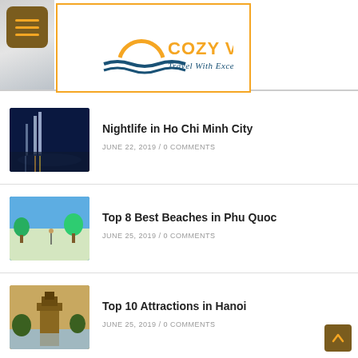Cozy Vietnam — Travel With Excellence
Nightlife in Ho Chi Minh City
JUNE 22, 2019 / 0 COMMENTS
Top 8 Best Beaches in Phu Quoc
JUNE 25, 2019 / 0 COMMENTS
Top 10 Attractions in Hanoi
JUNE 25, 2019 / 0 COMMENTS
Learn How to Cook Vietnamese Dishes at Apron Up Cooking Class